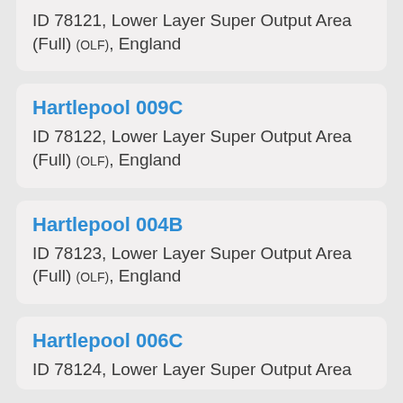ID 78121, Lower Layer Super Output Area (Full) (OLF), England
Hartlepool 009C
ID 78122, Lower Layer Super Output Area (Full) (OLF), England
Hartlepool 004B
ID 78123, Lower Layer Super Output Area (Full) (OLF), England
Hartlepool 006C
ID 78124, Lower Layer Super Output Area